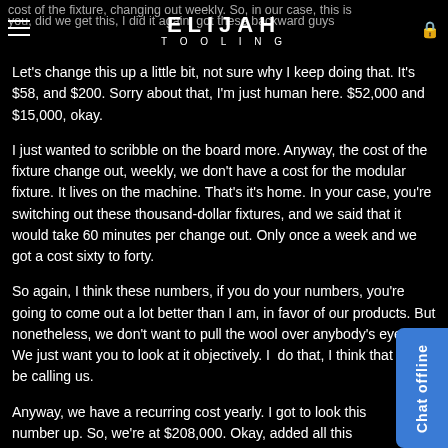cost of the fixture, changing out weekly. So, in our case, this is — you, did we get this, I did it again, got these backward guys — ELIJAH TOOLING
Let's change this up a little bit, not sure why I keep doing that. It's $58, and $200. Sorry about that, I'm just human here. $52,000 and $15,000, okay.
I just wanted to scribble on the board more. Anyway, the cost of the fixture change out, weekly, we don't have a cost for the modular fixture. It lives on the machine. That's it's home. In your case, you're switching out these thousand-dollar fixtures, and we said that it would take 60 minutes per change out. Only once a week and we got a cost sixty to forty.
So again, I think these numbers, if you do your numbers, you're going to come out a lot better than I am, in favor of our products. But nonetheless, we don't want to pull the wool over anybody's eyes. We just want you to look at it objectively. If do that, I think that you'll be calling us.
Anyway, we have a recurring cost yearly. I got to look this number up. So, we're at $208,000. Okay, added all this stu... And, we got a subtotal of $223,000+ and $266,000+. Who... did it again. Did it again. $266,000 that wouldn't be a perfect